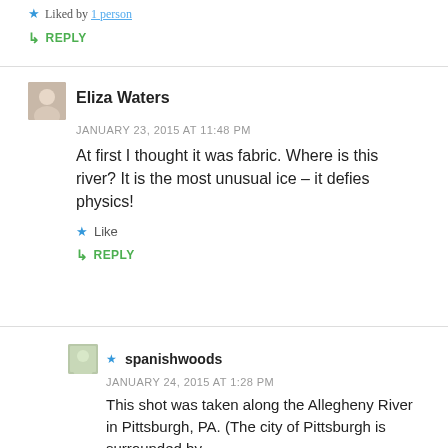★ Liked by 1 person
↳ REPLY
Eliza Waters
JANUARY 23, 2015 AT 11:48 PM
At first I thought it was fabric. Where is this river? It is the most unusual ice – it defies physics!
★ Like
↳ REPLY
★ spanishwoods
JANUARY 24, 2015 AT 1:28 PM
This shot was taken along the Allegheny River in Pittsburgh, PA. (The city of Pittsburgh is surrounded by